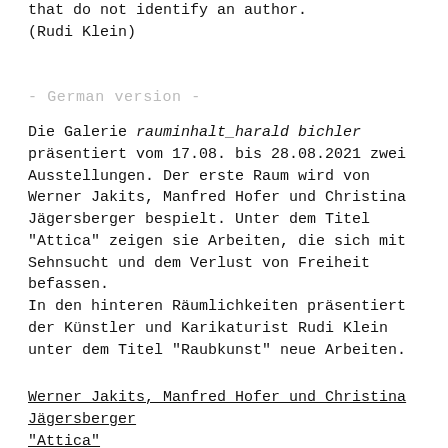that do not identify an author.
(Rudi Klein)
- German version -
Die Galerie rauminhalt_harald bichler präsentiert vom 17.08. bis 28.08.2021 zwei Ausstellungen. Der erste Raum wird von Werner Jakits, Manfred Hofer und Christina Jägersberger bespielt. Unter dem Titel "Attica" zeigen sie Arbeiten, die sich mit Sehnsucht und dem Verlust von Freiheit befassen.
In den hinteren Räumlichkeiten präsentiert der Künstler und Karikaturist Rudi Klein unter dem Titel "Raubkunst" neue Arbeiten.
Werner Jakits, Manfred Hofer und Christina Jägersberger "Attica"